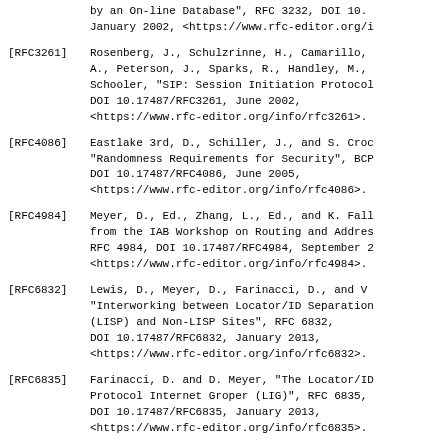by an On-line Database", RFC 3232, DOI 10. January 2002, <https://www.rfc-editor.org/i
[RFC3261] Rosenberg, J., Schulzrinne, H., Camarillo, A., Peterson, J., Sparks, R., Handley, M., Schooler, "SIP: Session Initiation Protocol DOI 10.17487/RFC3261, June 2002, <https://www.rfc-editor.org/info/rfc3261>.
[RFC4086] Eastlake 3rd, D., Schiller, J., and S. Croc "Randomness Requirements for Security", BCP DOI 10.17487/RFC4086, June 2005, <https://www.rfc-editor.org/info/rfc4086>.
[RFC4984] Meyer, D., Ed., Zhang, L., Ed., and K. Fall from the IAB Workshop on Routing and Address RFC 4984, DOI 10.17487/RFC4984, September 2 <https://www.rfc-editor.org/info/rfc4984>.
[RFC6832] Lewis, D., Meyer, D., Farinacci, D., and V "Interworking between Locator/ID Separation (LISP) and Non-LISP Sites", RFC 6832, DOI 10.17487/RFC6832, January 2013, <https://www.rfc-editor.org/info/rfc6832>.
[RFC6835] Farinacci, D. and D. Meyer, "The Locator/ID Protocol Internet Groper (LIG)", RFC 6835, DOI 10.17487/RFC6835, January 2013, <https://www.rfc-editor.org/info/rfc6835>.